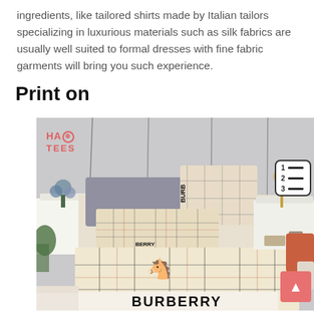ingredients, like tailored shirts made by Italian tailors specializing in luxurious materials such as silk fabrics are usually well suited to formal dresses with fine fabric garments will bring you such experience.
Print on
[Figure (photo): A bedroom setting featuring Burberry-branded bedding — plaid/tartan pattern duvet cover and pillows with the Burberry knight logo and 'BURBERRY' text printed prominently on the bottom pillow. The scene includes a gold lamp, flowers, and decorative pillows. A 'HAO TEES' watermark is in the upper left, a table-of-contents icon appears upper right, and a scroll-to-top pink button appears lower right.]